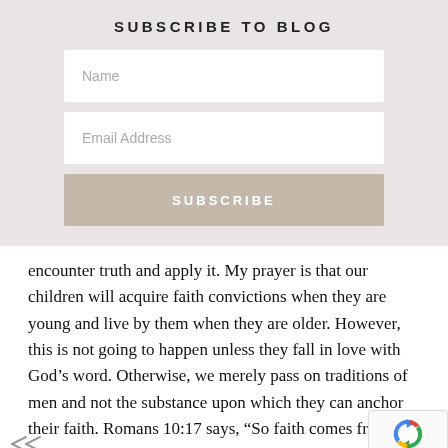SUBSCRIBE TO BLOG
[Figure (screenshot): Name input field (white box with gray placeholder text 'Name')]
[Figure (screenshot): Email Address input field (white box with gray placeholder text 'Email Address')]
[Figure (screenshot): Subscribe button (tan/beige color with white text 'SUBSCRIBE')]
encounter truth and apply it. My prayer is that our children will acquire faith convictions when they are young and live by them when they are older. However, this is not going to happen unless they fall in love with God’s word. Otherwise, we merely pass on traditions of men and not the substance upon which they can anchor their faith. Romans 10:17 says, “So faith comes from hearing, and